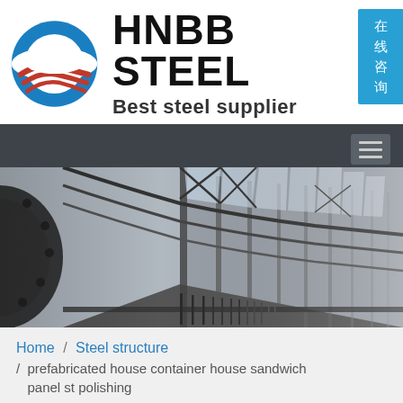[Figure (logo): HNBB Steel company logo with circular blue and red swoosh design, company name 'HNBB STEEL' and tagline 'Best steel supplier']
[Figure (photo): Interior of a steel structure building showing arched steel framework, skylights, and industrial structural elements in a tunnel-like perspective]
Home / Steel structure / prefabricated house container house sandwich panel st polishing